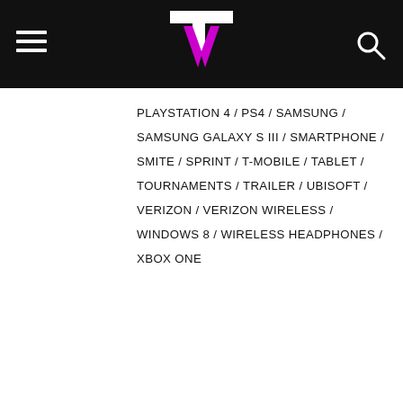TW logo, hamburger menu, search icon
PLAYSTATION 4 / PS4 / SAMSUNG / SAMSUNG GALAXY S III / SMARTPHONE / SMITE / SPRINT / T-MOBILE / TABLET / TOURNAMENTS / TRAILER / UBISOFT / VERIZON / VERIZON WIRELESS / WINDOWS 8 / WIRELESS HEADPHONES / XBOX ONE